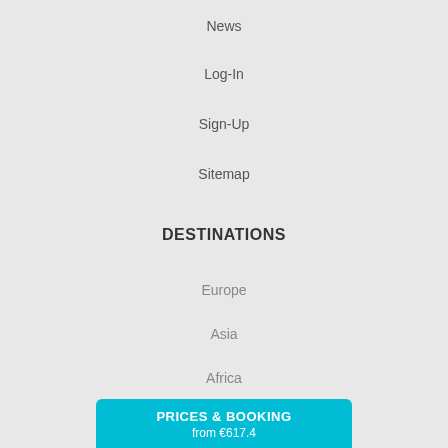News
Log-In
Sign-Up
Sitemap
DESTINATIONS
Europe
Asia
Africa
Australia
South America
PRICES & BOOKING
from €617.4